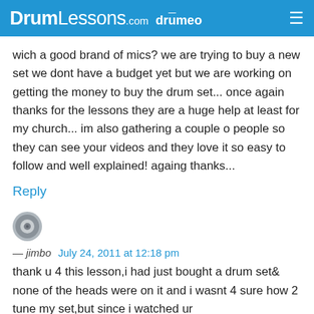DrumLessons.com drumeo
wich a good brand of mics? we are trying to buy a new set we dont have a budget yet but we are working on getting the money to buy the drum set... once again thanks for the lessons they are a huge help at least for my church... im also gathering a couple o people so they can see your videos and they love it so easy to follow and well explained! againg thanks...
Reply
[Figure (photo): User avatar thumbnail showing a drum cymbal/snare drum]
— jimbo   July 24, 2011 at 12:18 pm
thank u 4 this lesson,i had just bought a drum set& none of the heads were on it and i wasnt 4 sure how 2 tune my set,but since i watched ur